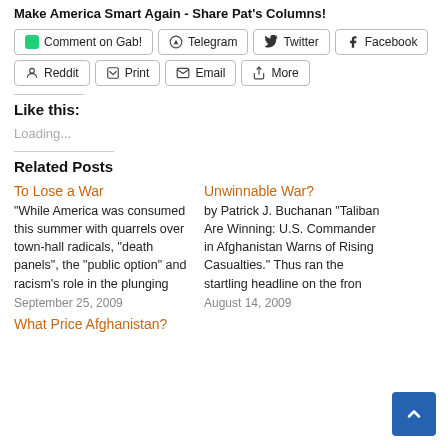Make America Smart Again - Share Pat's Columns!
Comment on Gab!
Telegram
Twitter
Facebook
Reddit
Print
Email
More
Like this:
Loading...
Related Posts
To Lose a War
"While America was consumed this summer with quarrels over town-hall radicals, "death panels", the "public option" and racism's role in the plunging
September 25, 2009
Unwinnable War?
by Patrick J. Buchanan "Taliban Are Winning: U.S. Commander in Afghanistan Warns of Rising Casualties." Thus ran the startling headline on the fron
August 14, 2009
What Price Afghanistan?